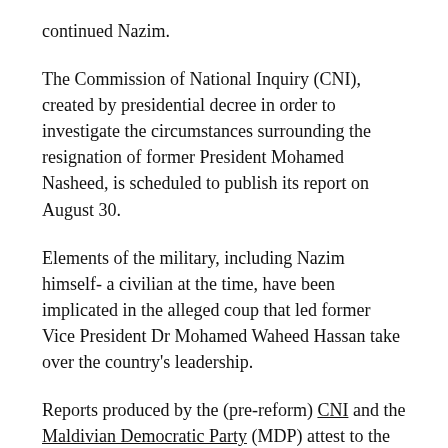continued Nazim.
The Commission of National Inquiry (CNI), created by presidential decree in order to investigate the circumstances surrounding the resignation of former President Mohamed Nasheed, is scheduled to publish its report on August 30.
Elements of the military, including Nazim himself- a civilian at the time, have been implicated in the alleged coup that led former Vice President Dr Mohamed Waheed Hassan take over the country's leadership.
Reports produced by the (pre-reform) CNI and the Maldivian Democratic Party (MDP) attest to the heavy involvement of MNDF troops in the transfer of power.